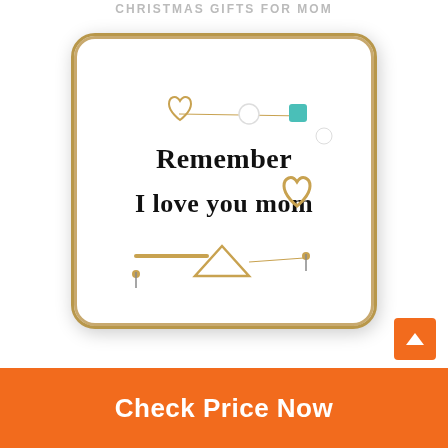Christmas Gifts for Mom
[Figure (photo): White square ceramic ring dish with gold rim border, inscribed with 'Remember I love you mom' in bold black serif text and a gold heart outline, decorated with gold jewelry pieces and a teal bead.]
Check Price Now